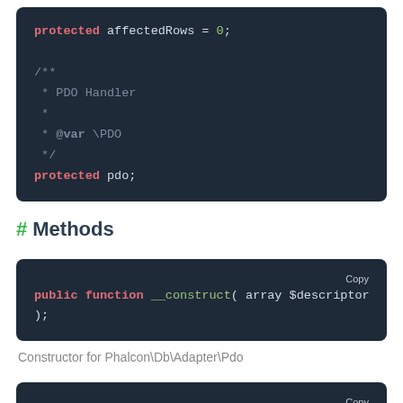protected affectedRows = 0;

/**
 * PDO Handler
 *
 * @var \PDO
 */
protected pdo;
# Methods
public function __construct( array $descriptor
);
Constructor for Phalcon\Db\Adapter\Pdo
public function affectedRows(): int;